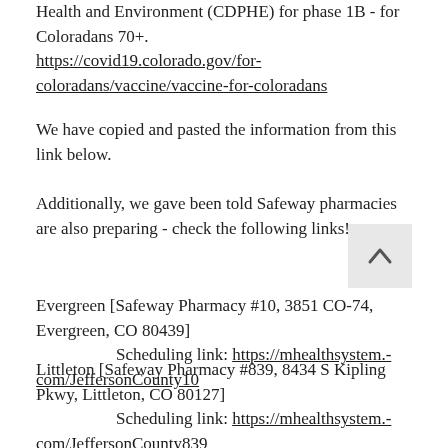Health and Environment (CDPHE) for phase 1B - for Coloradans 70+.
https://covid19.colorado.gov/for-coloradans/vaccine/vaccine-for-coloradans
We have copied and pasted the information from this link below.
Additionally, we gave been told Safeway pharmacies are also preparing - check the following links!
Evergreen [Safeway Pharmacy #10, 3851 CO-74, Evergreen, CO 80439]
        Scheduling link: https://mhealthsystem.-com/JeffersonCounty10
Littleton [Safeway Pharmacy #839, 8434 S Kipling Pkwy, Littleton, CO 80127]
        Scheduling link: https://mhealthsystem.-com/JeffersonCounty839